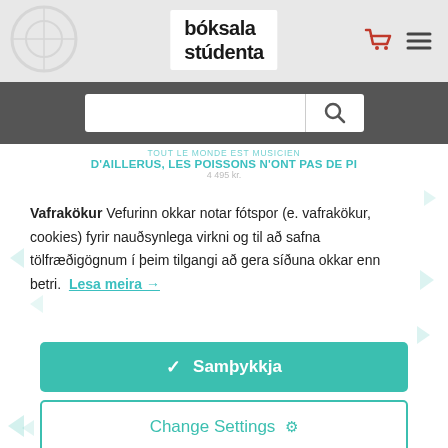[Figure (logo): Bóksala stúdenta logo — stylized bold text]
[Figure (screenshot): Search bar on dark grey background with magnifying glass icon]
D'AILLERUS, LES POISSONS N'ONT PAS DE PI
Vafrakökur Vefurinn okkar notar fótspor (e. vafrakökur, cookies) fyrir nauðsynlega virkni og til að safna tölfræðigögnum í þeim tilgangi að gera síðuna okkar enn betri. Lesa meira →
✓  Samþykkja
Change Settings ⚙